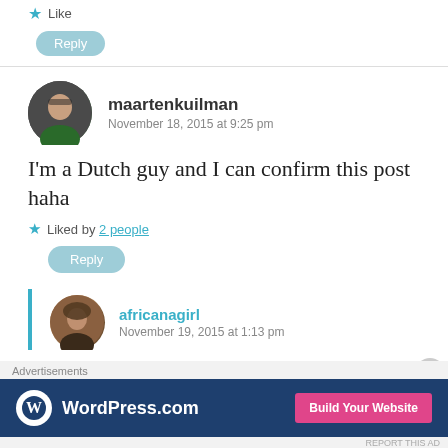Like
Reply
maartenkuilman
November 18, 2015 at 9:25 pm
I'm a Dutch guy and I can confirm this post haha
Liked by 2 people
Reply
africanagirl
November 19, 2015 at 1:13 pm
Advertisements
[Figure (logo): WordPress.com advertisement banner with Build Your Website button]